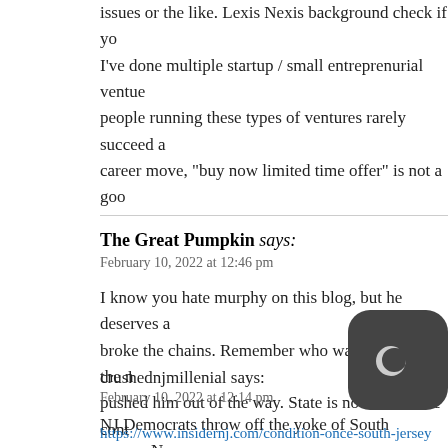issues or the like. Lexis Nexis background check if yo… I've done multiple startup / small entreprenurial ventue… people running these types of ventures rarely succeed a… career move, "buy now limited time offer" is not a goo…
The Great Pumpkin says:
February 10, 2022 at 12:46 pm

I know you hate murphy on this blog, but he deserves a… broke the chains. Remember who was going to be the n… pushed him out of the way. State is now out of the cont… hurt the north for way too long.
crushednjmillenial says:
February 10, 2022 at 12:14 pm
NJ Democrats throw off the yoke of South … Nor…
https://www.insidernj.com/condition-once-south-jersey…